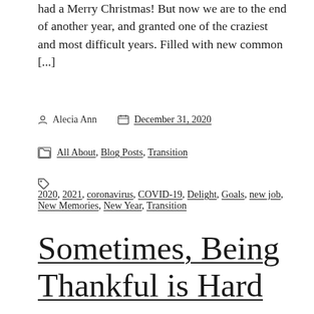had a Merry Christmas! But now we are to the end of another year, and granted one of the craziest and most difficult years. Filled with new common [...]
Alecia Ann   December 31, 2020
All About, Blog Posts, Transition
2020, 2021, coronavirus, COVID-19, Delight, Goals, new job, New Memories, New Year, Transition
Sometimes, Being Thankful is Hard